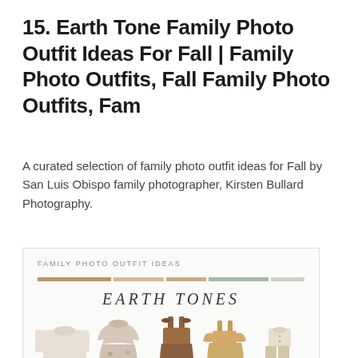15. Earth Tone Family Photo Outfit Ideas For Fall | Family Photo Outfits, Fall Family Photo Outfits, Fam
A curated selection of family photo outfit ideas for Fall by San Luis Obispo family photographer, Kirsten Bullard Photography.
[Figure (illustration): A styled card with the header 'FAMILY PHOTO OUTFIT IDEAS', color swatches bars in earth tones (tan, beige, sage green), italic serif title 'EARTH TONES', and clothing items displayed below including a cream sweater, a floral dress, a brown children's dress, and tan/caramel children's outfits.]